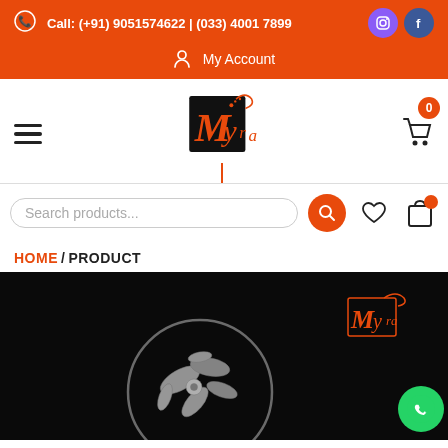Call: (+91) 9051574622 | (033) 4001 7899  My Account
[Figure (logo): Myra brand logo - stylized M with spiral, orange on black background, with decorative tail]
Search products...
HOME / PRODUCT
[Figure (photo): Black background product photo showing a circular metallic jewelry piece with bird and leaf design, with Myra logo overlay and WhatsApp button]